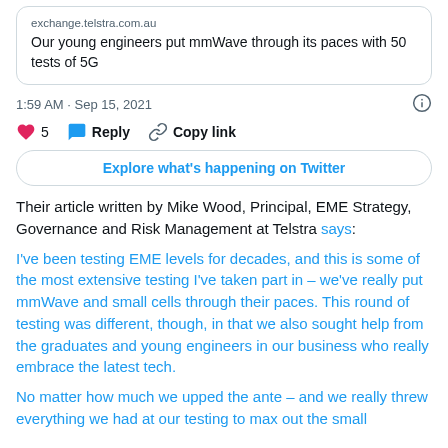[Figure (screenshot): Twitter/X embedded tweet card showing a link to exchange.telstra.com.au with text 'Our young engineers put mmWave through its paces with 50 tests of 5G']
1:59 AM · Sep 15, 2021
5   Reply   Copy link
Explore what's happening on Twitter
Their article written by Mike Wood, Principal, EME Strategy, Governance and Risk Management at Telstra says:
I've been testing EME levels for decades, and this is some of the most extensive testing I've taken part in – we've really put mmWave and small cells through their paces. This round of testing was different, though, in that we also sought help from the graduates and young engineers in our business who really embrace the latest tech.
No matter how much we upped the ante – and we really threw everything we had at our testing to max out the small